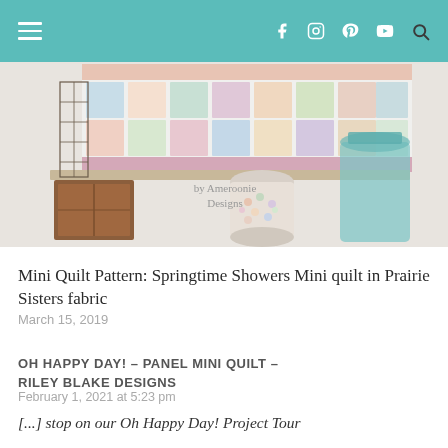Navigation bar with hamburger menu, social icons (Facebook, Instagram, Pinterest, YouTube), and search icon
[Figure (photo): Photo of a mini quilt with springtime/umbrella pattern hanging on a wall, alongside a wooden crate, glass jars with candy, and a blue mason jar. Watermark reads 'by Ameroonie Designs'.]
Mini Quilt Pattern: Springtime Showers Mini quilt in Prairie Sisters fabric
March 15, 2019
OH HAPPY DAY! – PANEL MINI QUILT – RILEY BLAKE DESIGNS
February 1, 2021 at 5:23 pm
[...] stop on our Oh Happy Day! Project Tour